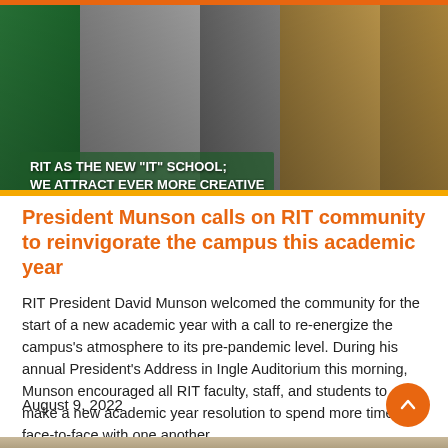[Figure (photo): RIT President speaking at a podium with the RIT logo, in front of a green screen displaying text about RIT as the new IT school and attracting creative students]
President Munson calls on RIT community to reinvigorate the campus this academic year
RIT President David Munson welcomed the community for the start of a new academic year with a call to re-energize the campus's atmosphere to its pre-pandemic level. During his annual President's Address in Ingle Auditorium this morning, Munson encouraged all RIT faculty, staff, and students to make a new academic year resolution to spend more time face-to-face with one another.
August 9, 2022
[Figure (photo): Partial bottom image visible at the edge of the page]